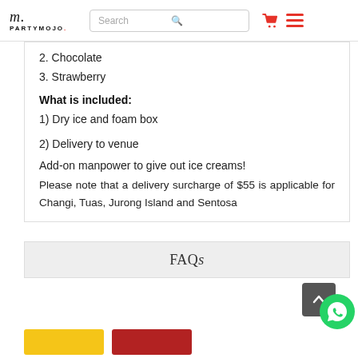PARTYMOJO. | Search | [cart] [menu]
2. Chocolate
3. Strawberry
What is included:
1) Dry ice and foam box
2) Delivery to venue
Add-on manpower to give out ice creams!
Please note that a delivery surcharge of $55 is applicable for Changi, Tuas, Jurong Island and Sentosa
FAQs